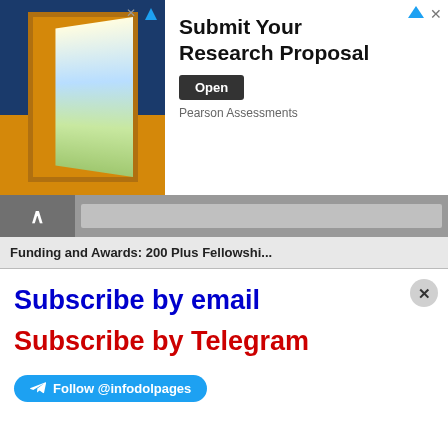[Figure (infographic): Advertisement banner: Submit Your Research Proposal with an open door image and Pearson Assessments branding, with Open button]
Funding and Awards: 200 Plus Fellowshi...
Subscribe by email
Subscribe by Telegram
Follow @infodolpages
Addmissions
Administrative
Bachelors
Diploma
Engineer
[Figure (infographic): Social share bar with Twitter, WhatsApp, LinkedIn, Blogger, Pinterest, Telegram, Facebook icons and Share button]